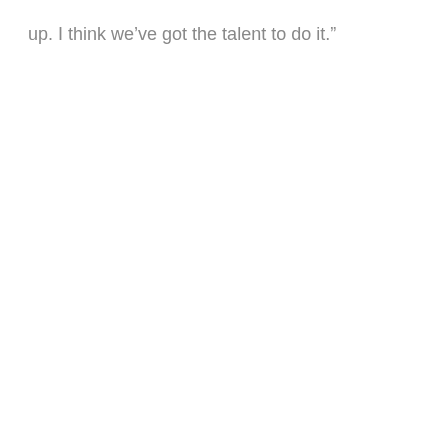up. I think we’ve got the talent to do it.”